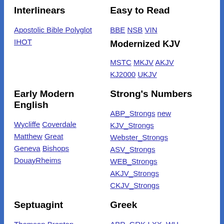Interlinears
Apostolic Bible Polyglot  IHOT
Easy to Read
BBE  NSB  VIN
Modernized KJV
MSTC  MKJV  AKJV  KJ2000  UKJV
Early Modern English
Wycliffe  Coverdale  Matthew  Great  Geneva  Bishops  DouayRheims
Strong's Numbers
ABP_Strongs  new  KJV_Strongs  Webster_Strongs  ASV_Strongs  WEB_Strongs  AKJV_Strongs  CKJV_Strongs
Septuagint
Thomson  Brenton  Brenton_Greek  CAB  LXX2012
Greek
ABP_GRK  LXX_WH  Brenton_Greek
Hebrew
HOT  IHOT
Latin
Deutsch